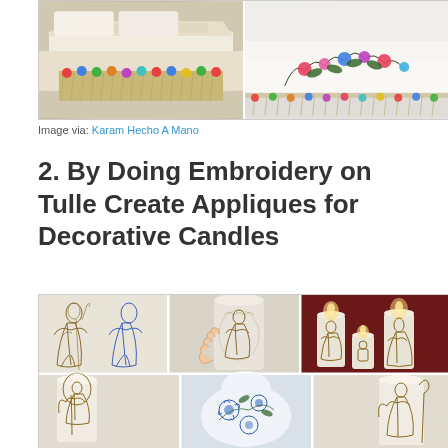[Figure (photo): Two photos side by side of embroidered textiles on beds — left shows a colorful fringed blanket with pompoms, right shows a white bed runner with floral embroidery and fringe]
Image via: Karam Hecho A Mano
2. By Doing Embroidery on Tulle Create Appliques for Decorative Candles
[Figure (photo): Collage of photos showing embroidery appliques on tulle being applied to decorative candles — top row shows sketch designs, a hand placing tulle on a candle, and lit candles with angel/nativity designs; bottom row shows candles with embroidered tulle wraps next to a ceramic vase with blue floral design]